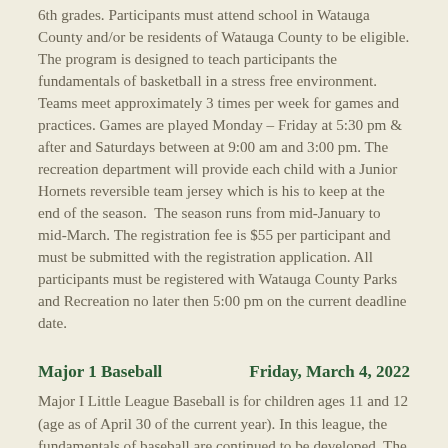6th grades. Participants must attend school in Watauga County and/or be residents of Watauga County to be eligible. The program is designed to teach participants the fundamentals of basketball in a stress free environment. Teams meet approximately 3 times per week for games and practices. Games are played Monday – Friday at 5:30 pm & after and Saturdays between at 9:00 am and 3:00 pm. The recreation department will provide each child with a Junior Hornets reversible team jersey which is his to keep at the end of the season.  The season runs from mid-January to mid-March. The registration fee is $55 per participant and must be submitted with the registration application. All participants must be registered with Watauga County Parks and Recreation no later then 5:00 pm on the current deadline date.
Major 1 Baseball     Friday, March 4, 2022
Major I Little League Baseball is for children ages 11 and 12 (age as of April 30 of the current year). In this league, the fundamentals of baseball are continued to be developed. The season runs approximately 3